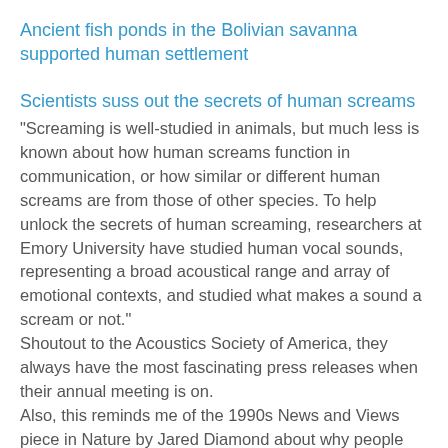Ancient fish ponds in the Bolivian savanna supported human settlement
Scientists suss out the secrets of human screams
"Screaming is well-studied in animals, but much less is known about how human screams function in communication, or how similar or different human screams are from those of other species. To help unlock the secrets of human screaming, researchers at Emory University have studied human vocal sounds, representing a broad acoustical range and array of emotional contexts, and studied what makes a sound a scream or not."
Shoutout to the Acoustics Society of America, they always have the most fascinating press releases when their annual meeting is on.
Also, this reminds me of the 1990s News and Views piece in Nature by Jared Diamond about why people scream when attacked - give or take a few duplicated letters, the title was Aaaaaaarrrrrrgh, nooo! I found that quite inspiring in terms of what you can get away with in a scientific journal.